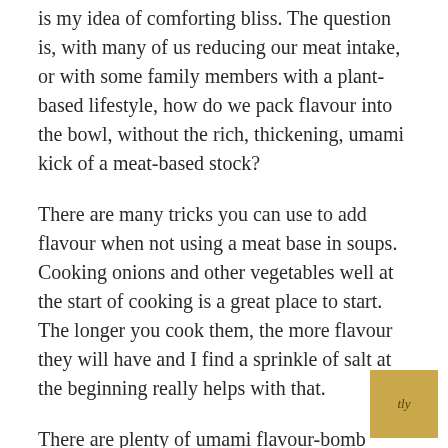is my idea of comforting bliss. The question is, with many of us reducing our meat intake, or with some family members with a plant-based lifestyle, how do we pack flavour into the bowl, without the rich, thickening, umami kick of a meat-based stock?
There are many tricks you can use to add flavour when not using a meat base in soups. Cooking onions and other vegetables well at the start of cooking is a great place to start. The longer you cook them, the more flavour they will have and I find a sprinkle of salt at the beginning really helps with that.
There are plenty of umami flavour-bomb ingredients you can use, but don't feel restricted by keeping cuisines authentic. Miso, Marmite, cheese, soy pastes and sauces all add amazing umami flavour. If your diet is not strictly plant-based, fish sauce is magic; I add a splash to many